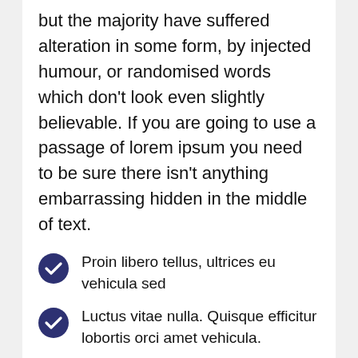but the majority have suffered alteration in some form, by injected humour, or randomised words which don't look even slightly believable. If you are going to use a passage of lorem ipsum you need to be sure there isn't anything embarrassing hidden in the middle of text.
Proin libero tellus, ultrices eu vehicula sed
Luctus vitae nulla. Quisque efficitur lobortis orci amet vehicula.
Sed tincidunt tincidunt velit, vel